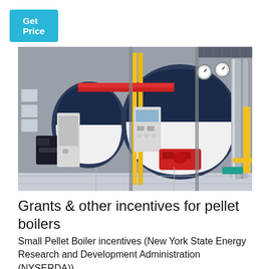Get Price
[Figure (photo): Industrial boiler room with multiple large horizontal cylindrical boilers in blue and white. Yellow gas pipes, red burner assemblies, control panels, and pressure gauges are visible. The facility has a concrete floor and metal framework overhead.]
Grants & other incentives for pellet boilers
Small Pellet Boiler incentives (New York State Energy Research and Development Administration (NYSERDA))